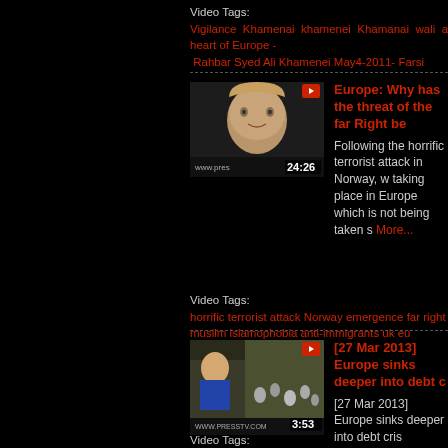Video Tags: Vigilance Khamenai khamenei Khamanai wali amr muslim heart of Europe - Rahbar Syed Ali Khamenei May4-2011- Farsi
[Figure (screenshot): Video thumbnail showing a man's face, duration 24:26]
Europe: Why has the threat of the far Right be...
Following the horrific terrorist attack in Norway, w... taking place in Europe which is not being taken s... More...
Video Tags: horrific terrorist attack Norway emergence far right Europe muslim islamophobia anti-immigrants uk eu
[Figure (screenshot): Video thumbnail showing a news reporter with crowd in background, duration 3:53]
[27 Mar 2013] Europe sinks deeper into debt c...
[27 Mar 2013] Europe sinks deeper into debt cris...
Video Tags: 27 Mar 2013 Europe sinks deeper into debt crisis PTV ...